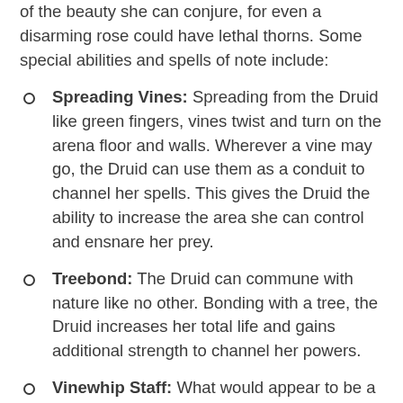of the beauty she can conjure, for even a disarming rose could have lethal thorns. Some special abilities and spells of note include:
Spreading Vines: Spreading from the Druid like green fingers, vines twist and turn on the arena floor and walls. Wherever a vine may go, the Druid can use them as a conduit to channel her spells. This gives the Druid the ability to increase the area she can control and ensnare her prey.
Treebond: The Druid can commune with nature like no other. Bonding with a tree, the Druid increases her total life and gains additional strength to channel her powers.
Vinewhip Staff: What would appear to be a simple staff of wood is a powerful tool in the hands of a Druid. Using the Vinewhip Staff, the Druid can summon vines from the ground and